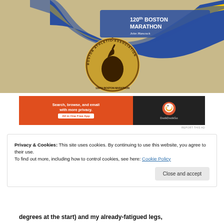[Figure (photo): Photo of the 120th Boston Marathon finisher medal with blue and yellow ribbon. The ribbon reads '120th BOSTON MARATHON' and 'John Hancock'. The medal shows the Boston Athletic Association unicorn logo inside a circular seal.]
[Figure (screenshot): DuckDuckGo advertisement banner. Orange left panel with text 'Search, browse, and email with more privacy. All in One Free App'. Dark right panel with DuckDuckGo logo and name.]
REPORT THIS AD
Privacy & Cookies: This site uses cookies. By continuing to use this website, you agree to their use.
To find out more, including how to control cookies, see here: Cookie Policy
degrees at the start) and my already-fatigued legs,